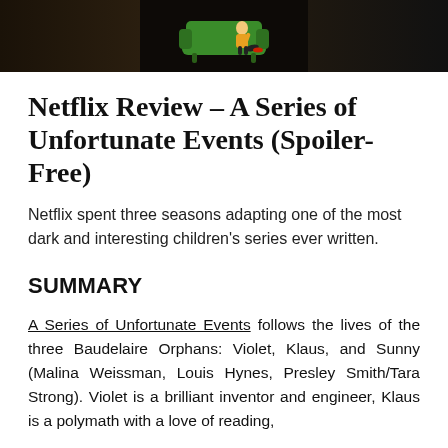[Figure (illustration): Dark header image with a green sofa/couch logo with a cartoon figure in the center, flanked by dark scene images on both sides]
Netflix Review – A Series of Unfortunate Events (Spoiler-Free)
Netflix spent three seasons adapting one of the most dark and interesting children's series ever written.
SUMMARY
A Series of Unfortunate Events follows the lives of the three Baudelaire Orphans: Violet, Klaus, and Sunny (Malina Weissman, Louis Hynes, Presley Smith/Tara Strong). Violet is a brilliant inventor and engineer, Klaus is a polymath with a love of reading,